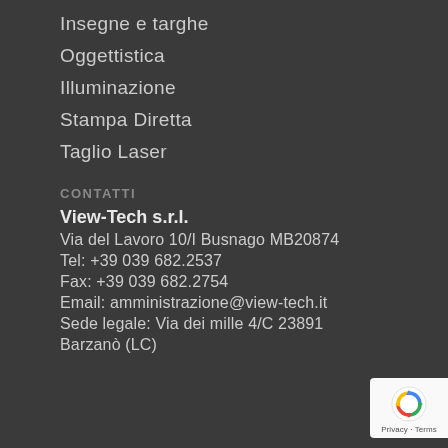Insegne e targhe
Oggettistica
Illuminazione
Stampa Diretta
Taglio Laser
CONTATTI
View-Tech s.r.l.
Via del Lavoro 10/I Busnago MB20874
Tel: +39 039 682.2537
Fax: +39 039 682.2754
Email: amministrazione@view-tech.it
Sede legale: Via dei mille 4/C 23891
Barzanò (LC)
[Figure (logo): reCAPTCHA badge with blue circular arrows icon and Privacy - Terms text]